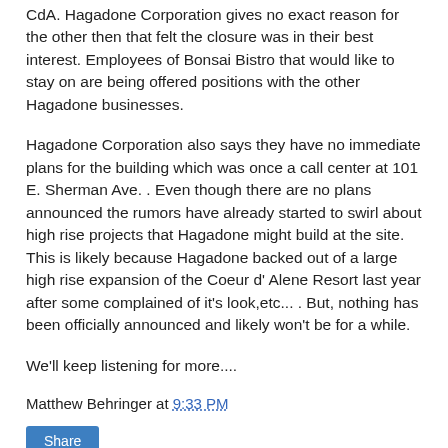CdA. Hagadone Corporation gives no exact reason for the other then that felt the closure was in their best interest. Employees of Bonsai Bistro that would like to stay on are being offered positions with the other Hagadone businesses.
Hagadone Corporation also says they have no immediate plans for the building which was once a call center at 101 E. Sherman Ave. . Even though there are no plans announced the rumors have already started to swirl about high rise projects that Hagadone might build at the site. This is likely because Hagadone backed out of a large high rise expansion of the Coeur d' Alene Resort last year after some complained of it's look,etc... . But, nothing has been officially announced and likely won't be for a while.
We'll keep listening for more....
Matthew Behringer at 9:33 PM
Share
Wednesday, May 3, 2017